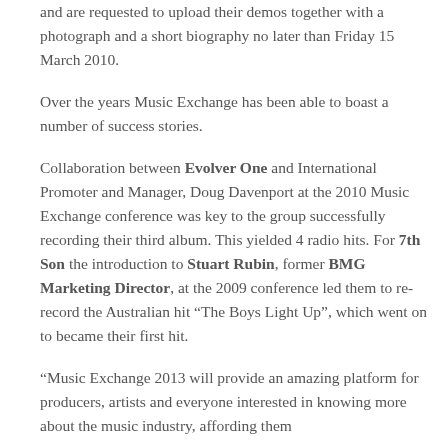and are requested to upload their demos together with a photograph and a short biography no later than Friday 15 March 2010.
Over the years Music Exchange has been able to boast a number of success stories.
Collaboration between Evolver One and International Promoter and Manager, Doug Davenport at the 2010 Music Exchange conference was key to the group successfully recording their third album. This yielded 4 radio hits. For 7th Son the introduction to Stuart Rubin, former BMG Marketing Director, at the 2009 conference led them to re-record the Australian hit “The Boys Light Up”, which went on to became their first hit.
“Music Exchange 2013 will provide an amazing platform for producers, artists and everyone interested in knowing more about the music industry, affording them